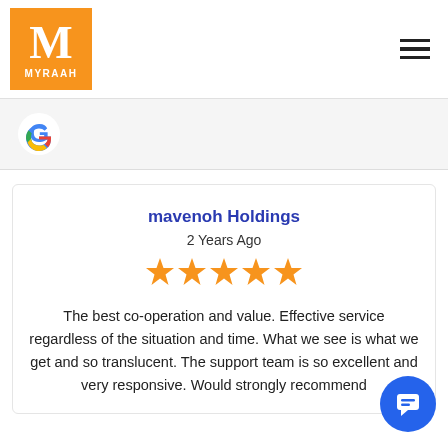[Figure (logo): Myraah logo: orange square with white M and MYRAAH text]
[Figure (logo): Google G logo in colored circle]
mavenoh Holdings
2 Years Ago
[Figure (other): 5 orange star rating icons]
The best co-operation and value. Effective service regardless of the situation and time. What we see is what we get and so translucent. The support team is so excellent and very responsive. Would strongly recommend